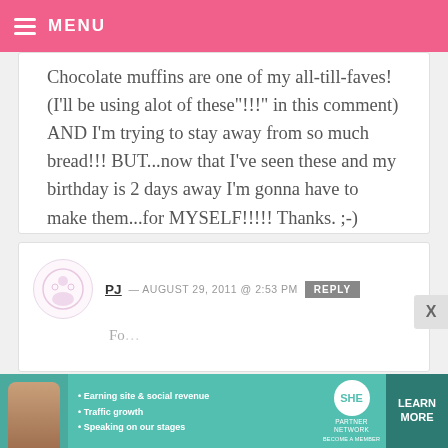MENU
Chocolate muffins are one of my all-till-faves! (I'll be using alot of these"!!!" in this comment) AND I'm trying to stay away from so much bread!!! BUT...now that I've seen these and my birthday is 2 days away I'm gonna have to make them...for MYSELF!!!!! Thanks. ;-)
PJ — AUGUST 29, 2011 @ 2:53 PM REPLY
[Figure (screenshot): Advertisement banner for SHE Partner Network with bullet points: Earning site & social revenue, Traffic growth, Speaking on our stages. Includes LEARN MORE button.]